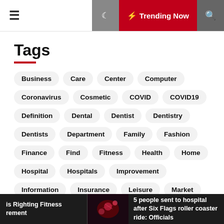☰ ☽ ⚡ Trending Now 🔍
Tags
Business
Care
Center
Computer
Coronavirus
Cosmetic
COVID
COVID19
Definition
Dental
Dentist
Dentistry
Dentists
Department
Family
Fashion
Finance
Find
Fitness
Health
Home
Hospital
Hospitals
Improvement
Information
Insurance
Leisure
Market
Medical
Medicine
News
Online
Pandemic
Patients
School
Services
is Righting Fitness rement | 5 people sent to hospital after Six Flags roller coaster ride: Officials